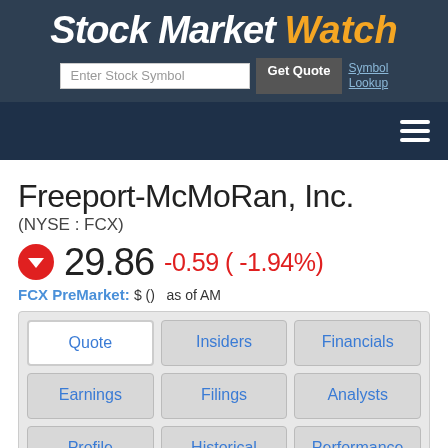Stock Market Watch
Enter Stock Symbol | Get Quote | Symbol Lookup
Freeport-McMoRan, Inc.
(NYSE : FCX)
29.86  -0.59 ( -1.94%)
FCX PreMarket: $ ()   as of AM
| Quote | Insiders | Financials |
| Earnings | Filings | Analysts |
| Profile | Historical | Performance |